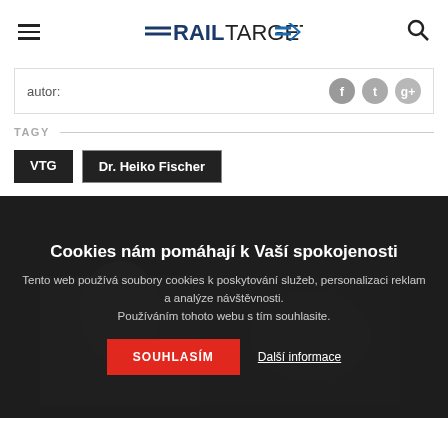≡ RAILTARGET 🔍
autor:
TAGY
VTG
Dr. Heiko Fischer
KAM DAL?
Cookies nám pomáhají k Vaší spokojenosti
Tento web používá soubory cookies k poskytování služeb, personalizaci reklam a analýze návštěvnosti. Používáním tohoto webu s tím souhlasite.
SOUHLASÍM
Další informace